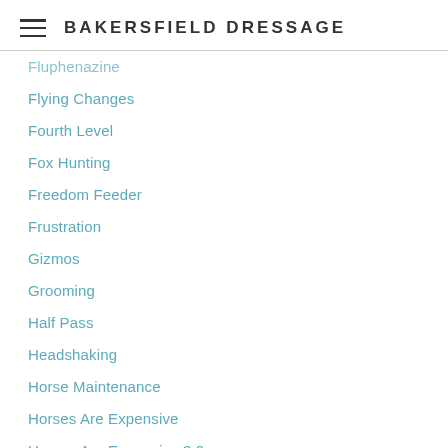BAKERSFIELD DRESSAGE
Fluphenazine
Flying Changes
Fourth Level
Fox Hunting
Freedom Feeder
Frustration
Gizmos
Grooming
Half Pass
Headshaking
Horse Maintenance
Horses Are Expensive
Horses Are Expensive 3.0
Horses Are Expensive II
Hunter/jumper Stuff
Imperioso
Introductory Level
Izzys Leg